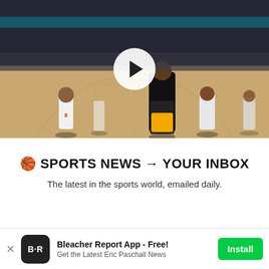[Figure (photo): Basketball game video thumbnail showing NBA players on court with a play button overlay. Players in white Nuggets uniforms and gold/black Jazz uniforms visible. Indoor arena with crowd in background.]
🏀 SPORTS NEWS → YOUR INBOX
The latest in the sports world, emailed daily.
[Figure (infographic): Bleacher Report app install banner at the bottom of the page. Shows BR logo icon, app name 'Bleacher Report App - Free!', subtitle 'Get the Latest Eric Paschall News', and a green Install button.]